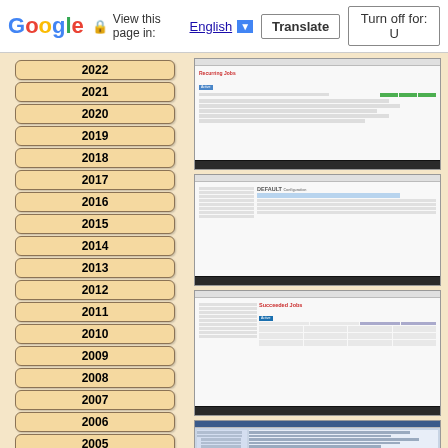Google  View this page in: English [▼]  Translate  Turn off for: U
2022
2021
2020
2019
2018
2017
2016
2015
2014
2013
2012
2011
2010
2009
2008
2007
2006
2005
2004
2003
2002
2001
2000
[Figure (screenshot): Screenshot of Recurring Jobs interface with job listing table and green status indicators]
[Figure (screenshot): Screenshot of DEFAULT configuration panel interface]
[Figure (screenshot): Screenshot of Succeeded Jobs interface with job listing table]
[Figure (screenshot): Screenshot of older interface with tree panel on left and content area on right]